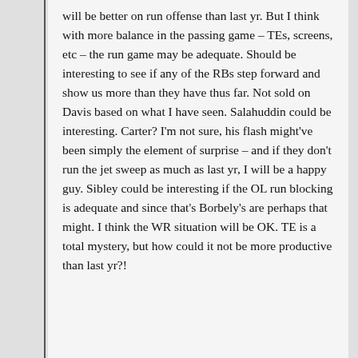will be better on run offense than last yr. But I think with more balance in the passing game – TEs, screens, etc – the run game may be adequate. Should be interesting to see if any of the RBs step forward and show us more than they have thus far. Not sold on Davis based on what I have seen. Salahuddin could be interesting. Carter? I'm not sure, his flash might've been simply the element of surprise – and if they don't run the jet sweep as much as last yr, I will be a happy guy. Sibley could be interesting if the OL run blocking is adequate and since that's Borbely's are perhaps that might. I think the WR situation will be OK. TE is a total mystery, but how could it not be more productive than last yr?!